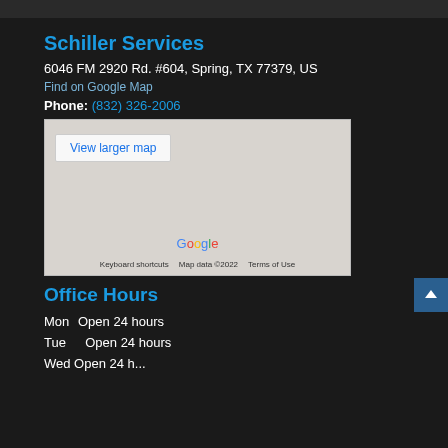Schiller Services
6046 FM 2920 Rd. #604, Spring, TX 77379, US
Find on Google Map
Phone: (832) 326-2006
[Figure (map): Google Map embed showing location with 'View larger map' button, Google logo, keyboard shortcuts, map data ©2022, and Terms of Use labels]
Office Hours
Mon Open 24 hours
Tue  Open 24 hours
Wed Open 24 h...